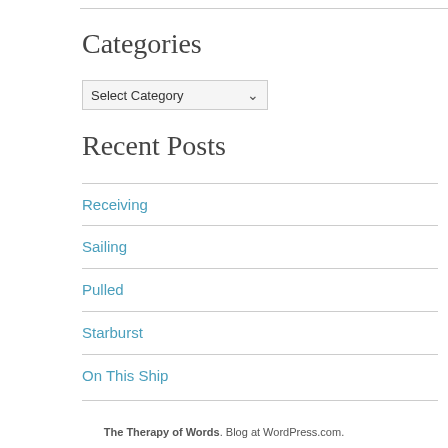Categories
Select Category
Recent Posts
Receiving
Sailing
Pulled
Starburst
On This Ship
The Therapy of Words. Blog at WordPress.com.